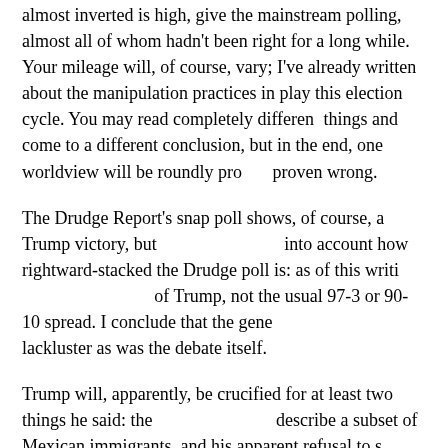almost inverted is high, give the mainstream polling, almost all of whom hadn't been right for a long while. Your mileage will, of course, vary; I've already written about the manipulation practices in play this election cycle. You may read completely different things and come to a different conclusion, but in the end, one worldview will be roundly proven wrong.
The Drudge Report's snap poll shows, of course, a Trump victory, but you have to take into account how rightward-stacked the Drudge poll is: as of this writing, it's 72-28 in favor of Trump, not the usual 97-3 or 90-10 spread. I conclude that the general reaction is as lackluster as was the debate itself.
Trump will, apparently, be crucified for at least two things he said: the word he used to describe a subset of Mexican immigrants, and his apparent refusal to say he'll accept the election results. (This 1990-era PDF shows some of the options available to those who dispute the results of an election. Keep in mind that the info is 2.6 decades old.) Scott Adams, in an old blog post, comments on how confirmation bias informs our notions. And in his most recent post, he writes: